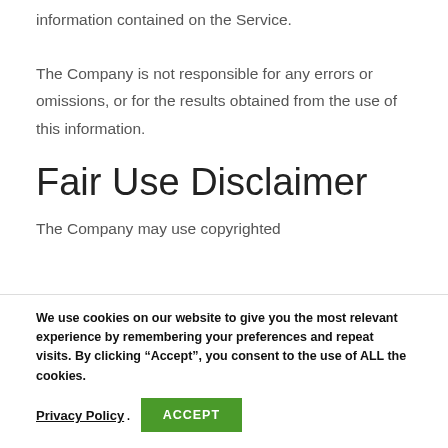information contained on the Service. The Company is not responsible for any errors or omissions, or for the results obtained from the use of this information.
Fair Use Disclaimer
The Company may use copyrighted
We use cookies on our website to give you the most relevant experience by remembering your preferences and repeat visits. By clicking “Accept”, you consent to the use of ALL the cookies.
Privacy Policy . ACCEPT